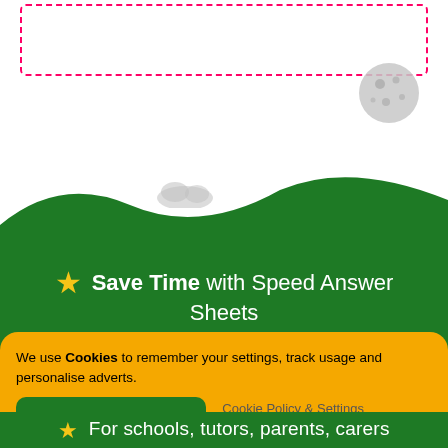[Figure (illustration): Top section with a pink dashed rectangle border (empty input area), a grey ball/moon shape at top right, a small grey cloud/hill shape, and a green rolling hills landscape below]
Save Time with Speed Answer Sheets
We use Cookies to remember your settings, track usage and personalise adverts.
Accept Cookies
Cookie Policy & Settings
Privacy Policy
For schools, tutors, parents, carers